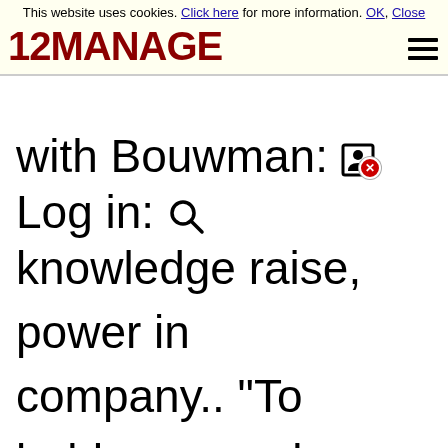This website uses cookies. Click here for more information. OK, Close
12MANAGE [hamburger menu]
with Bouwman: [error icon] Log In [search icon] knowledge raise, power in company.. "To boldy go an alp...